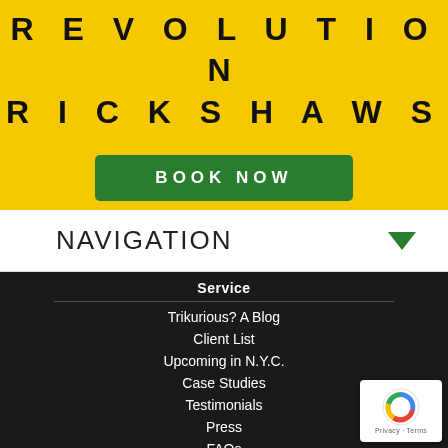REVOLUTION RICKSHAWS
BOOK NOW
NAVIGATION
Service
Trikurious? A Blog
Client List
Upcoming in N.Y.C.
Case Studies
Testimonials
Press
FAQs
Galleries
Quick Pay
[Figure (logo): Google reCAPTCHA badge with Privacy and Terms links]